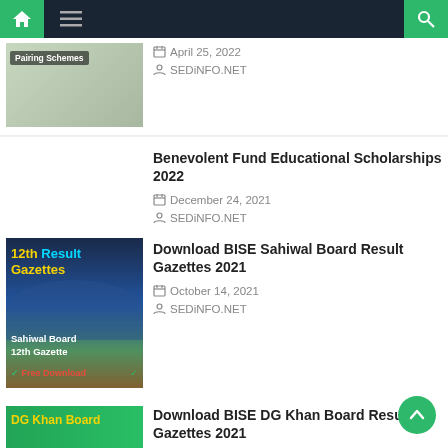SEDINFO.NET navigation bar
April 25, 2022
SEDINFO.NET
Benevolent Fund Educational Scholarships 2022
December 24, 2021
SEDINFO.NET
[Figure (photo): 12th Result Gazettes - Sahiwal Board 12th Gazette promotional image with Free Download label]
Download BISE Sahiwal Board Result Gazettes 2021
October 14, 2021
SEDINFO.NET
[Figure (photo): DG Khan Board promotional thumbnail]
Download BISE DG Khan Board Result Gazettes 2021